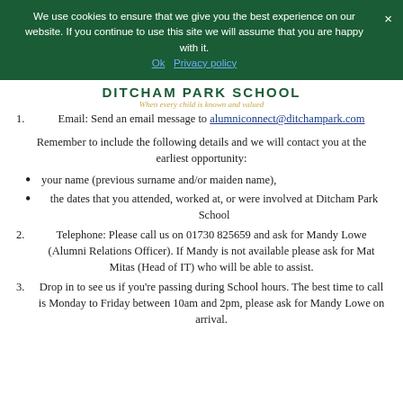We use cookies to ensure that we give you the best experience on our website. If you continue to use this site we will assume that you are happy with it.
Ok   Privacy policy
DITCHAM PARK SCHOOL
When every child is known and valued
1. Email: Send an email message to alumniconnect@ditchampark.com
Remember to include the following details and we will contact you at the earliest opportunity:
your name (previous surname and/or maiden name),
the dates that you attended, worked at, or were involved at Ditcham Park School
2. Telephone: Please call us on 01730 825659 and ask for Mandy Lowe (Alumni Relations Officer). If Mandy is not available please ask for Mat Mitas (Head of IT) who will be able to assist.
3. Drop in to see us if you're passing during School hours. The best time to call is Monday to Friday between 10am and 2pm, please ask for Mandy Lowe on arrival.